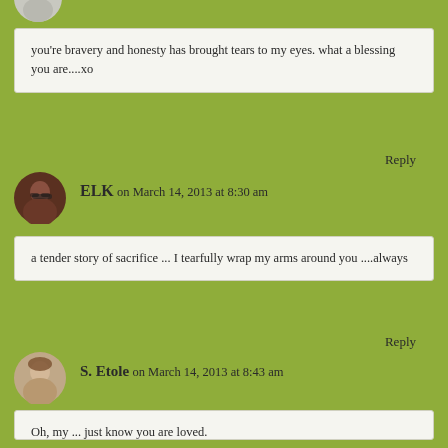[Figure (photo): Partial circular avatar at top of page, light gray tone]
you're bravery and honesty has brought tears to my eyes. what a blessing you are....xo
Reply
[Figure (photo): Circular avatar of a woman with glasses and brown hair]
ELK on March 14, 2013 at 8:30 am
a tender story of sacrifice ... I tearfully wrap my arms around you ....always
Reply
[Figure (photo): Circular avatar of a woman with short hair]
S. Etole on March 14, 2013 at 8:43 am
Oh, my ... just know you are loved.